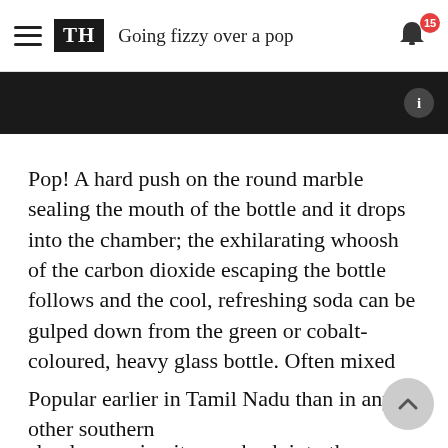Going fizzy over a pop
[Figure (photo): Dark background image strip partially visible at top of article]
Pop! A hard push on the round marble sealing the mouth of the bottle and it drops into the chamber; the exhilarating whoosh of the carbon dioxide escaping the bottle follows and the cool, refreshing soda can be gulped down from the green or cobalt-coloured, heavy glass bottle. Often mixed with lemon or orange juice, crushed ice, chaat masala and rock salt, the Goli Soda is slowly creeping its way back into the popular domain in Bengaluru, thanks to the heat and the revival of the soda drinking culture in the city.
Popular earlier in Tamil Nadu than in any other southern